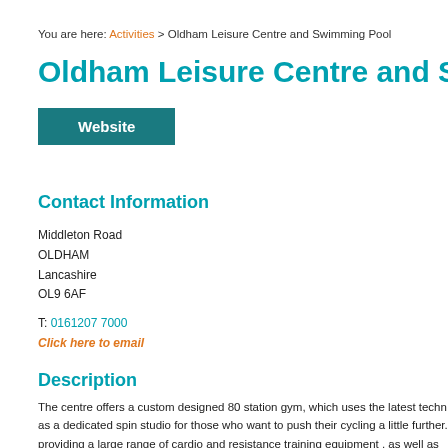You are here: Activities > Oldham Leisure Centre and Swimming Pool
Oldham Leisure Centre and Swimming Pool
[Figure (other): Website button - teal/dark cyan rectangle with white bold text 'Website']
Contact Information
Middleton Road
OLDHAM
Lancashire
OL9 6AF
T: 0161207 7000
Click here to email
Description
The centre offers a custom designed 80 station gym, which uses the latest techn... as a dedicated spin studio for those who want to push their cycling a little further. providing a large range of cardio and resistance training equipment , as well as a warm up and warm down. The new gym uses leading cardio and resistance equi... as bikes, rowers, cross trainers, and 'Run Now' treadmills, which have a cushion...

The outstanding swimming pool sits under a generous viewing balcony, which ow... separate learner pool for beginner and family sessions. It provides plenty of oo...